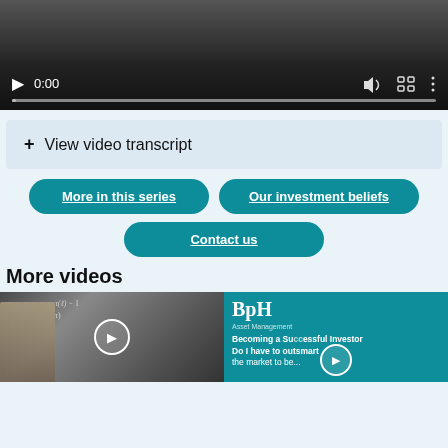[Figure (screenshot): Video player showing 0:00 timestamp with play button, volume icon, fullscreen icon, and more options icon, with progress bar at bottom]
+ View video transcript
More in this series
Our investment beliefs
Contact us
More videos
[Figure (screenshot): Two video thumbnails side by side: left shows a man in front of a whiteboard with mathematical equations and a play button overlay; right shows BpH branding on teal background with text 'Becoming a Successful Investor Do I have to outsmart the market to be...' and a play button overlay]